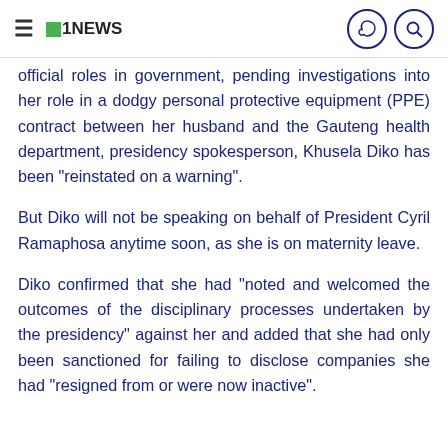1NEWS
official roles in government, pending investigations into her role in a dodgy personal protective equipment (PPE) contract between her husband and the Gauteng health department, presidency spokesperson, Khusela Diko has been “reinstated on a warning”.
But Diko will not be speaking on behalf of President Cyril Ramaphosa anytime soon, as she is on maternity leave.
Diko confirmed that she had “noted and welcomed the outcomes of the disciplinary processes undertaken by the presidency” against her and added that she had only been sanctioned for failing to disclose companies she had “resigned from or were now inactive”.